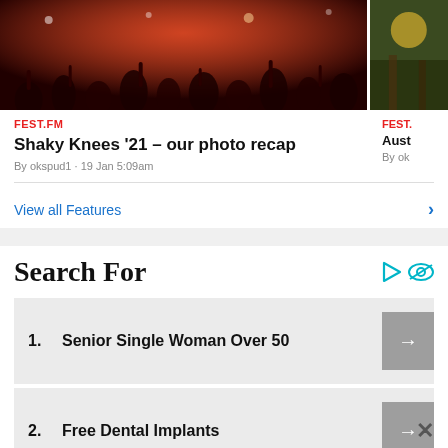[Figure (photo): Red-tinted concert crowd photo on left, partial outdoor photo on right]
FEST.FM
Shaky Knees '21 – our photo recap
By okspud1 · 19 Jan 5:09am
FEST.
Aust
By ok
View all Features
Search For
1. Senior Single Woman Over 50
2. Free Dental Implants
3. Video Streaming Service